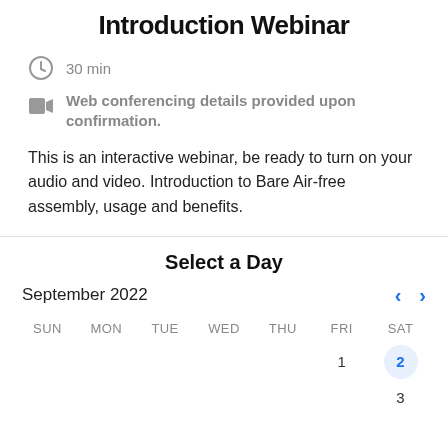Introduction Webinar
30 min
Web conferencing details provided upon confirmation.
This is an interactive webinar, be ready to turn on your audio and video. Introduction to Bare Air-free assembly, usage and benefits.
Select a Day
September 2022
| SUN | MON | TUE | WED | THU | FRI | SAT |
| --- | --- | --- | --- | --- | --- | --- |
|  |  |  |  |  | 1 | 2 |
|  |  |  |  |  |  | 3 |